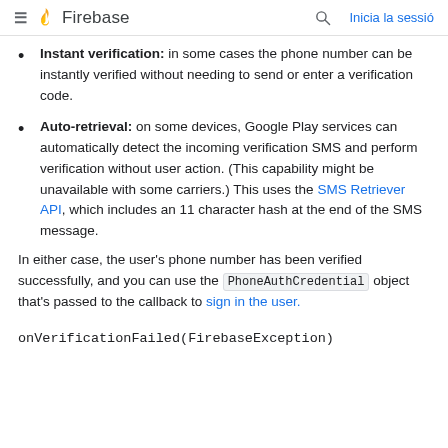Firebase — Inicia la sessió
Instant verification: in some cases the phone number can be instantly verified without needing to send or enter a verification code.
Auto-retrieval: on some devices, Google Play services can automatically detect the incoming verification SMS and perform verification without user action. (This capability might be unavailable with some carriers.) This uses the SMS Retriever API, which includes an 11 character hash at the end of the SMS message.
In either case, the user's phone number has been verified successfully, and you can use the PhoneAuthCredential object that's passed to the callback to sign in the user.
onVerificationFailed(FirebaseException)